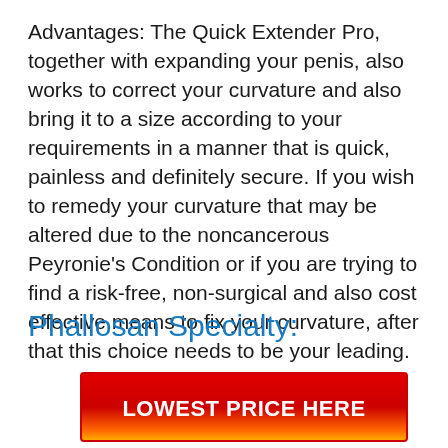Advantages: The Quick Extender Pro, together with expanding your penis, also works to correct your curvature and also bring it to a size according to your requirements in a manner that is quick, painless and definitely secure. If you wish to remedy your curvature that may be altered due to the noncancerous Peyronie's Condition or if you are trying to find a risk-free, non-surgical and also cost effective means to fix your curvature, after that this choice needs to be your leading.
Phallosan Specialty:
[Figure (other): Red gradient call-to-action button with white bold text reading LOWEST PRICE HERE]